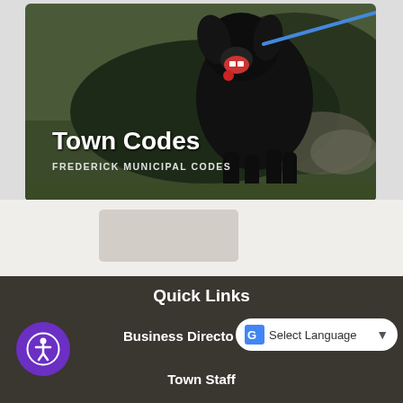[Figure (photo): Photo of a large black dog on a leash outdoors with grass and rocks in the background. Text overlay reads 'Town Codes' and 'FREDERICK MUNICIPAL CODES'.]
Town Codes
FREDERICK MUNICIPAL CODES
Quick Links
Business Directory
Town Staff